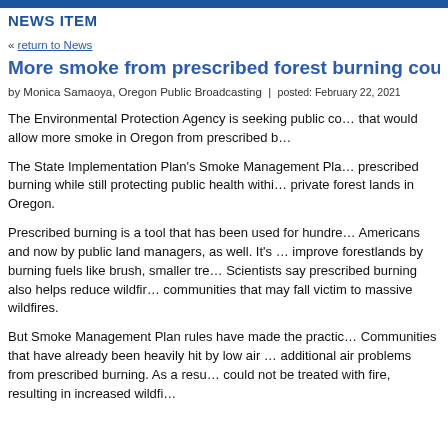NEWS ITEM
« return to News
More smoke from prescribed forest burning could be …
by Monica Samaoya, Oregon Public Broadcasting | posted: February 22, 2021
The Environmental Protection Agency is seeking public co… that would allow more smoke in Oregon from prescribed b…
The State Implementation Plan's Smoke Management Pla… prescribed burning while still protecting public health withi… private forest lands in Oregon.
Prescribed burning is a tool that has been used for hundre… Americans and now by public land managers, as well. It's … improve forestlands by burning fuels like brush, smaller tre… Scientists say prescribed burning also helps reduce wildfir… communities that may fall victim to massive wildfires.
But Smoke Management Plan rules have made the practic… Communities that have already been heavily hit by low air … additional air problems from prescribed burning. As a resu… could not be treated with fire, resulting in increased wildfi…